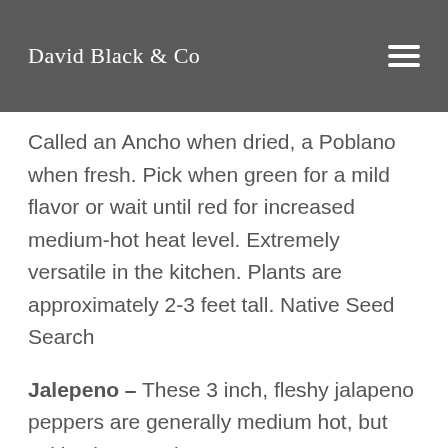David Black & Co
Called an Ancho when dried, a Poblano when fresh. Pick when green for a mild flavor or wait until red for increased medium-hot heat level. Extremely versatile in the kitchen. Plants are approximately 2-3 feet tall. Native Seed Search
Jalepeno – These 3 inch, fleshy jalapeno peppers are generally medium hot, but cultivation practices